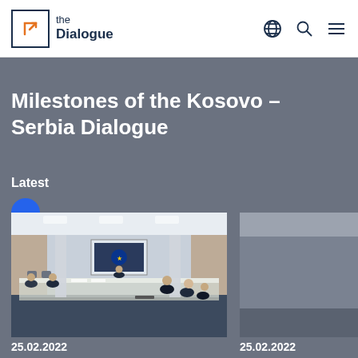the Dialogue
Milestones of the Kosovo – Serbia Dialogue
Latest
[Figure (photo): Conference room with people seated around tables in a U-shape, a projection screen showing an EU logo at the front.]
25.02.2022
25.02.2022